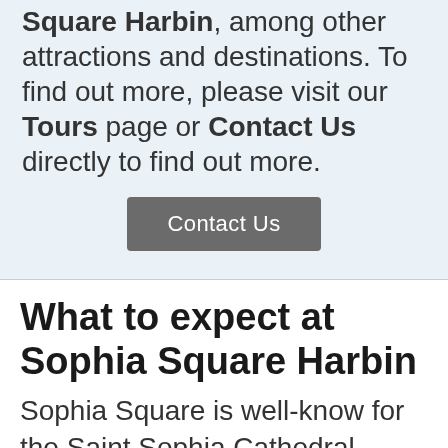Square Harbin, among other attractions and destinations. To find out more, please visit our Tours page or Contact Us directly to find out more.
[Figure (other): A grey rounded button labeled 'Contact Us']
What to expect at Sophia Square Harbin
Sophia Square is well-know for the Saint Sophia Cathedral. Through the restoration in 1997, the cathedral stands out on the square with the onion-shaped dome. The dome is